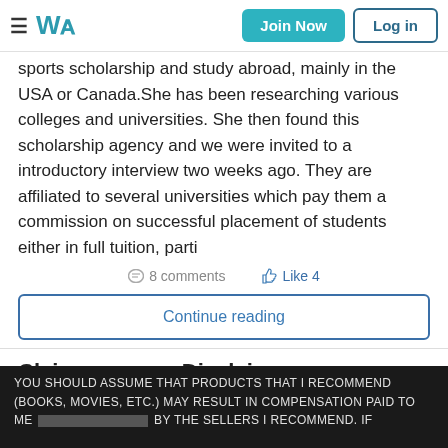≡ WA  Join Now  Log in
sports scholarship and study abroad, mainly in the USA or Canada.She has been researching various colleges and universities. She then found this scholarship agency and we were invited to a introductory interview two weeks ago. They are affiliated to several universities which pay them a commission on successful placement of students either in full tuition, parti
💬 8 comments  👍 Like 4
Continue reading
Claimer versus Disclaimer
September 26, 2017
YOU SHOULD ASSUME THAT PRODUCTS THAT I RECOMMEND (BOOKS, MOVIES, ETC.) MAY RESULT IN COMPENSATION PAID TO ME [REDACTED] BY THE SELLERS I RECOMMEND. IF